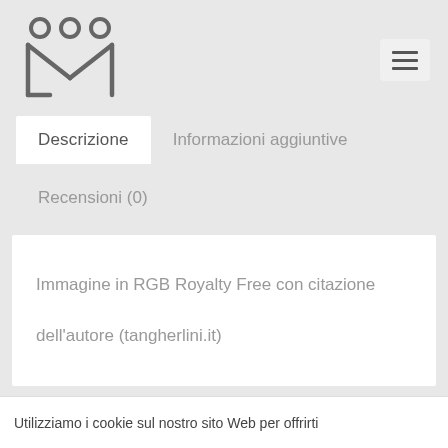[Figure (logo): Abstract M logo with three circles above stylized M letter in dark gray]
Descrizione
Informazioni aggiuntive
Recensioni (0)
Immagine in RGB Royalty Free con citazione dell'autore (tangherlini.it)
Utilizziamo i cookie sul nostro sito Web per offrirti